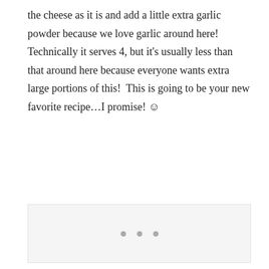the cheese as it is and add a little extra garlic powder because we love garlic around here!  Technically it serves 4, but it's usually less than that around here because everyone wants extra large portions of this!  This is going to be your new favorite recipe…I promise! ☺
[Figure (photo): Placeholder image area with three small gray dots centered, representing a loading or placeholder image region.]